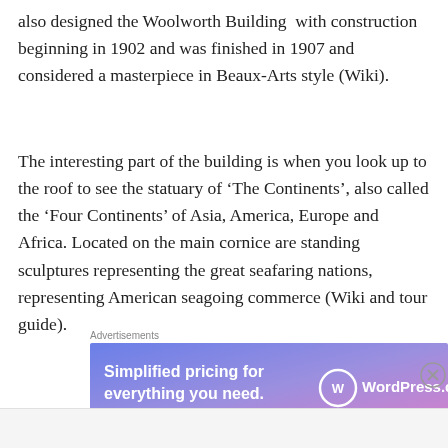also designed the Woolworth Building  with construction beginning in 1902 and was finished in 1907 and considered a masterpiece in Beaux-Arts style (Wiki).
The interesting part of the building is when you look up to the roof to see the statuary of ‘The Continents’, also called the ‘Four Continents’ of Asia, America, Europe and Africa. Located on the main cornice are standing sculptures representing the great seafaring nations, representing American seagoing commerce (Wiki and tour guide).
[Figure (other): WordPress.com advertisement banner: 'Simplified pricing for everything you need.' with WordPress.com logo on a blue-to-pink gradient background.]